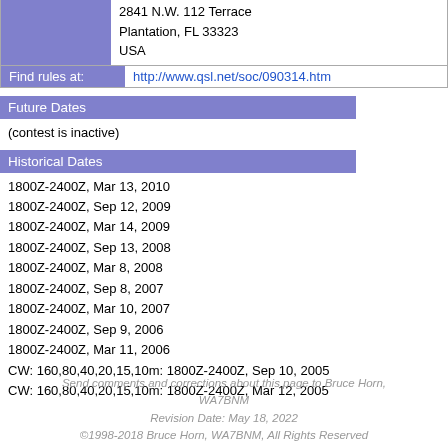2841 N.W. 112 Terrace
Plantation, FL 33323
USA
Find rules at: http://www.qsl.net/soc/090314.htm
Future Dates
(contest is inactive)
Historical Dates
1800Z-2400Z, Mar 13, 2010
1800Z-2400Z, Sep 12, 2009
1800Z-2400Z, Mar 14, 2009
1800Z-2400Z, Sep 13, 2008
1800Z-2400Z, Mar 8, 2008
1800Z-2400Z, Sep 8, 2007
1800Z-2400Z, Mar 10, 2007
1800Z-2400Z, Sep 9, 2006
1800Z-2400Z, Mar 11, 2006
CW: 160,80,40,20,15,10m: 1800Z-2400Z, Sep 10, 2005
CW: 160,80,40,20,15,10m: 1800Z-2400Z, Mar 12, 2005
Send comments and corrections about this page to Bruce Horn, WA7BNM
Revision Date: May 18, 2022
©1998-2018 Bruce Horn, WA7BNM, All Rights Reserved